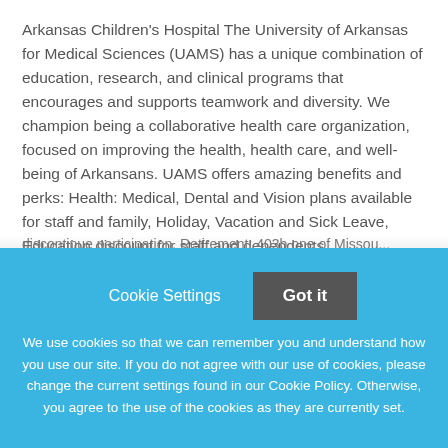Arkansas Children's Hospital The University of Arkansas for Medical Sciences (UAMS) has a unique combination of education, research, and clinical programs that encourages and supports teamwork and diversity. We champion being a collaborative health care organization, focused on improving the health, health care, and well-being of Arkansans. UAMS offers amazing benefits and perks: Health: Medical, Dental and Vision plans available for staff and family, Holiday, Vacation and Sick Leave, Education discount for staff and dependents
Cookie Settings  Got it
We use cookies so that we can remember you and understand how you use our site. If you do not agree with our use of cookies, please change the current settings found in our Cookie Policy. Otherwise, you agree to the use of the cookies as they are currently set.